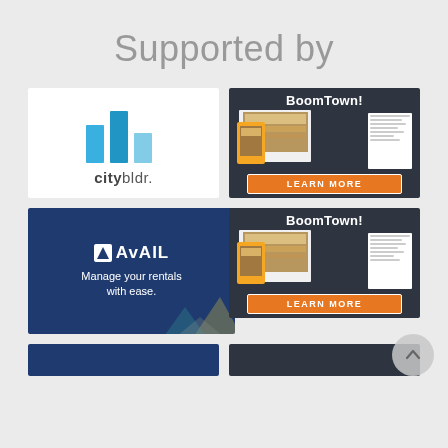Supported by
[Figure (logo): citybldr logo — blue bar chart icon with text 'citybldr.' on white background]
[Figure (screenshot): BoomTown! ad on dark background showing website screenshots and orange LEARN MORE button]
[Figure (logo): Avail ad on navy background: avail logo and text 'Manage your rentals with ease.']
[Figure (screenshot): BoomTown! ad on dark background showing website screenshots and orange LEARN MORE button (second)]
[Figure (other): Partial view of two ads at the bottom: blue and dark gray]
[Figure (other): Scroll-to-top circular button with upward arrow]